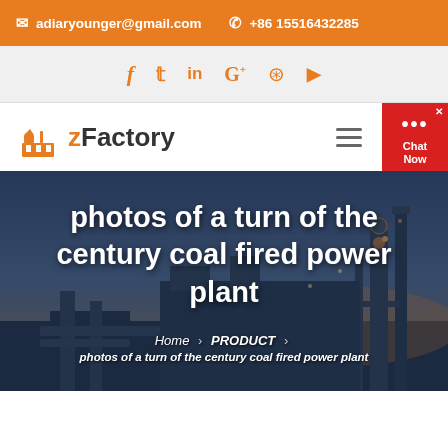✉ adiaryounger@gmail.com  ✆ +86 15516432285
[Figure (screenshot): Social media icons row: Facebook, Twitter, LinkedIn, Google+, Pinterest, YouTube - all in orange on light gray background]
[Figure (logo): zFactory logo with orange factory building icon and bold text 'zFactory']
[Figure (photo): Industrial coal fired power plant at dusk/twilight with machinery, pipes and towers silhouetted against dramatic sky]
photos of a turn of the century coal fired power plant
Home > PRODUCT > photos of a turn of the century coal fired power plant